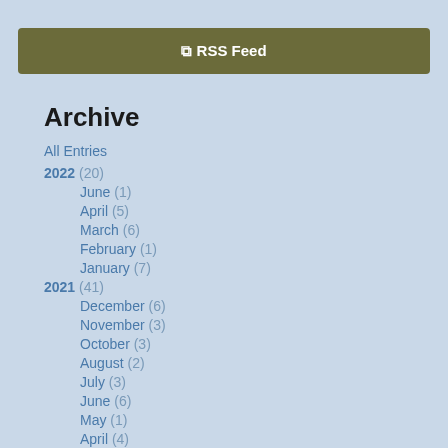RSS Feed
Archive
All Entries
2022 (20)
June (1)
April (5)
March (6)
February (1)
January (7)
2021 (41)
December (6)
November (3)
October (3)
August (2)
July (3)
June (6)
May (1)
April (4)
March (5)